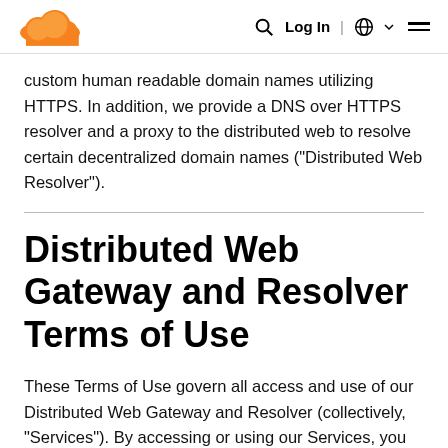Cloudflare — Log In | Globe | Menu
custom human readable domain names utilizing HTTPS. In addition, we provide a DNS over HTTPS resolver and a proxy to the distributed web to resolve certain decentralized domain names ("Distributed Web Resolver").
Distributed Web Gateway and Resolver Terms of Use
These Terms of Use govern all access and use of our Distributed Web Gateway and Resolver (collectively, "Services"). By accessing or using our Services, you agree to be bound by these Terms of Use. PLEASE